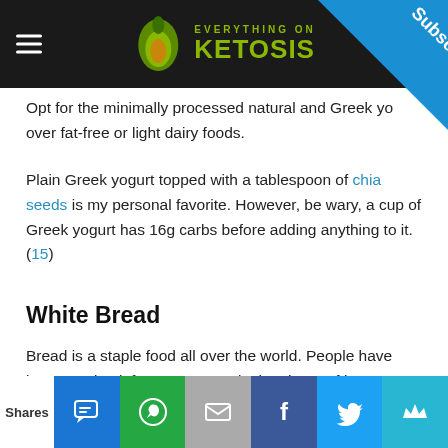EVERYTHING ON KETOSIS
Opt for the minimally processed natural and Greek yogurt over fat-free or light dairy foods.
Plain Greek yogurt topped with a tablespoon of chia seeds is my personal favorite. However, be wary, a cup of Greek yogurt has 16g carbs before adding anything to it.(15)
White Bread
Bread is a staple food all over the world. People have been serving it for many years in the shape of loaves, bagels, rolls, tortillas.
Shares